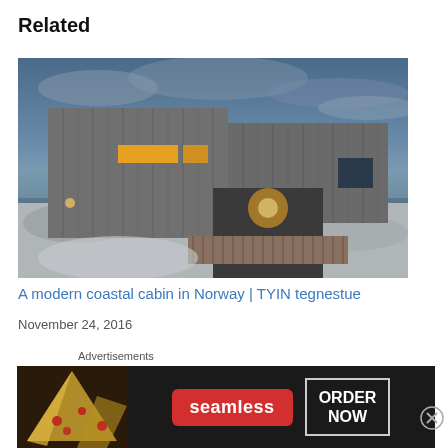Related
[Figure (photo): A modern wooden coastal cabin photographed at dusk with blue sky and water in background, warm lights glowing from windows, set on rocky terrain in Norway]
A modern coastal cabin in Norway | TYIN tegnestue
November 24, 2016
In "1 bedroom + loft"
[Figure (photo): Partial view of a reddish-orange and white modern building exterior]
[Figure (photo): Partial view of a modern building roof against a pale blue sky]
Advertisements
[Figure (photo): Seamless food delivery advertisement banner showing pizza slices on the left with Seamless logo and ORDER NOW button on dark background]